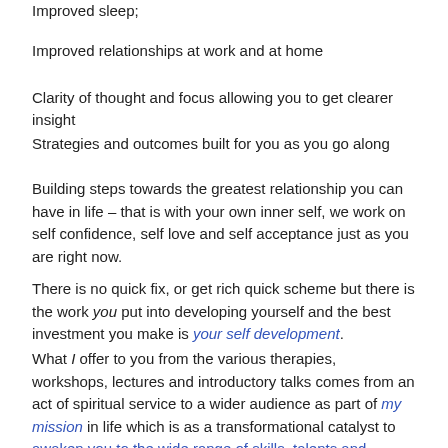Improved sleep;
Improved relationships at work and at home
Clarity of thought and focus allowing you to get clearer insight
Strategies and outcomes built for you as you go along
Building steps towards the greatest relationship you can have in life – that is with your own inner self, we work on self confidence, self love and self acceptance just as you are right now.
There is no quick fix, or get rich quick scheme but there is the work you put into developing yourself and the best investment you make is your self development.
What I offer to you from the various therapies, workshops, lectures and introductory talks comes from an act of spiritual service to a wider audience as part of my mission in life which is as a transformational catalyst to awaken you to the wide range of skills, talents and abilities inherent within you and to your spiritual awareness of the gift within you.